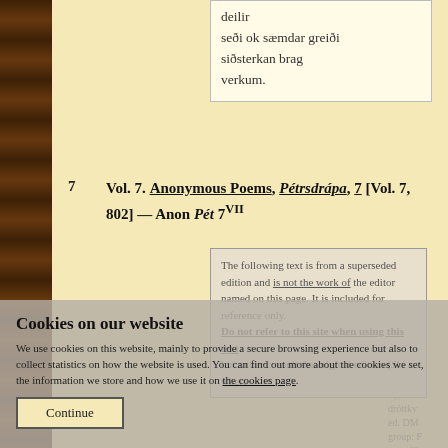deilir
seði ok sæmdar greiði
siðsterkan brag verkum.
7  Vol. 7. Anonymous Poems, Pétrsdrápa, 7 [Vol. 7, 802] — Anon Pét 7VII
The following text is from a superseded edition and is not the work of the editor named on this page. It is included for reference only. Do not refer to this site when using this text but rather consult the original edition (Ski where
Cookies on our website
We use cookies on this website, mainly to provide a secure browsing experience but also to collect statistics on how the website is used. You can find out more about the cookies we set, the information we store and how we use it on the cookies page.
Continue